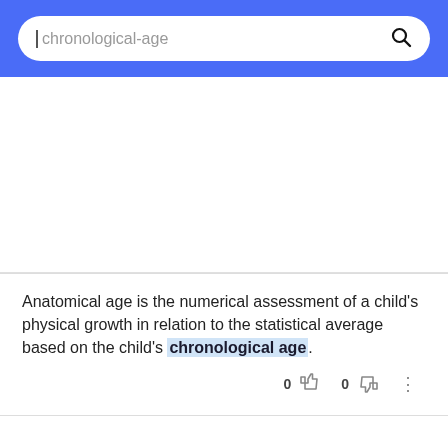[Figure (screenshot): Search bar with text 'chronological-age' and a search (magnifying glass) icon on a blue background header]
Anatomical age is the numerical assessment of a child's physical growth in relation to the statistical average based on the child's chronological age.
0  0  ⋮
(partial next entry, text cut off)